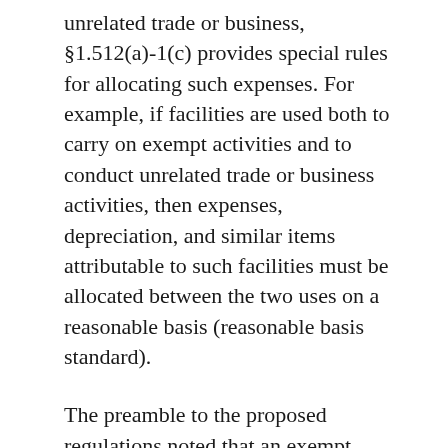unrelated trade or business, §1.512(a)-1(c) provides special rules for allocating such expenses. For example, if facilities are used both to carry on exempt activities and to conduct unrelated trade or business activities, then expenses, depreciation, and similar items attributable to such facilities must be allocated between the two uses on a reasonable basis (reasonable basis standard).
The preamble to the proposed regulations noted that an exempt organization with more than one unrelated trade or business must not only allocate shared expenses among exempt and taxable activities as described in §1.512(a)-1(c) but also among separate unrelated trades or businesses. Accordingly, the proposed regulations incorporated the